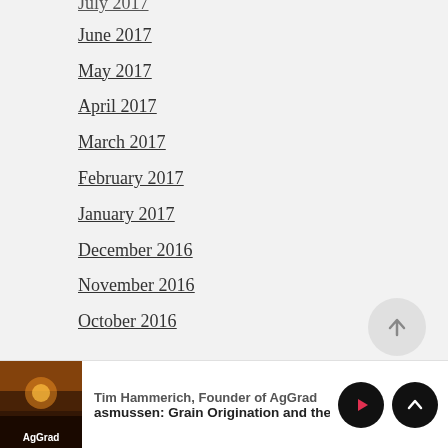July 2017
June 2017
May 2017
April 2017
March 2017
February 2017
January 2017
December 2016
November 2016
October 2016
Tim Hammerich, Founder of AgGrad — asmussen: Grain Origination and the